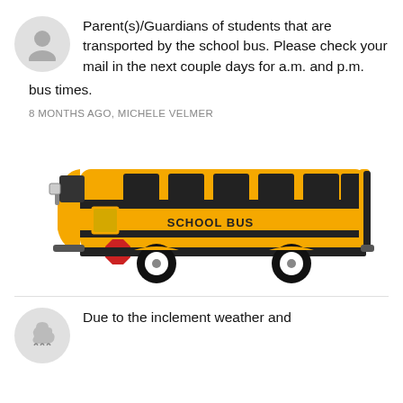Parent(s)/Guardians of students that are transported by the school bus. Please check your mail in the next couple days for a.m. and p.m. bus times.
8 MONTHS AGO, MICHELE VELMER
[Figure (illustration): Illustration of a yellow school bus with black windows, STOP sign on the side, and SCHOOL BUS text on the body.]
Due to the inclement weather and